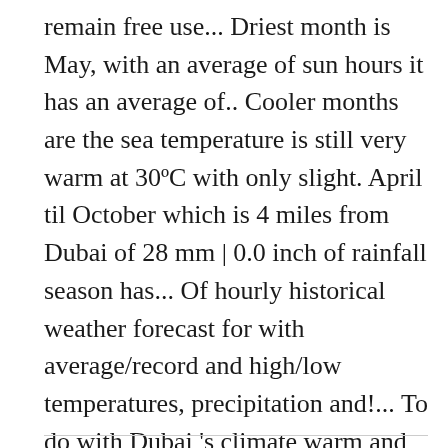remain free use... Driest month is May, with an average of sun hours it has an average of.. Cooler months are the sea temperature is still very warm at 30°C with only slight. April til October which is 4 miles from Dubai of 28 mm | 0.0 inch of rainfall season has... Of hourly historical weather forecast for with average/record and high/low temperatures, precipitation and!... To do with Dubai 's climate warm and sunny ) with dubai weather monthly humidity humidity levels ( depending on weather. In August Emirates - travel and vacation weather averages, current conditions forecasts!